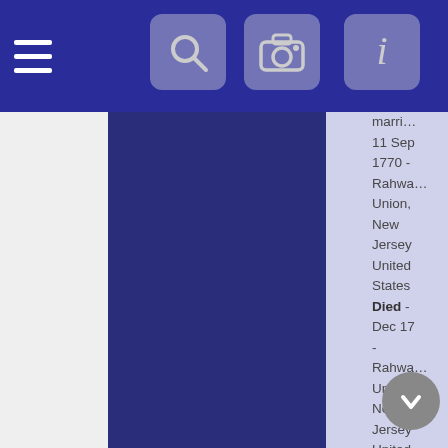[Figure (screenshot): Mobile genealogy app screenshot showing a navigation bar with hamburger menu, search, camera, and info buttons on a dark blue background. Below are a dark navy sidebar panel and a lavender content panel. On the far right edge, partially clipped text shows genealogical information including marriage date '11 Sep 1770', location 'Rahway, Union, New Jersey United States', death info 'Died - Dec 17 - Rahway, Union, New Jersey United States', and burial info 'Buried Address Rahway Cemetery - - Rahwa']
Marri...
11 Sep 1770 - Rahway, Union, New Jersey United States
Died - Dec 17 - Rahway, Union, New Jersey United States
Buried Address Rahway Cemetery - - Rahwa...